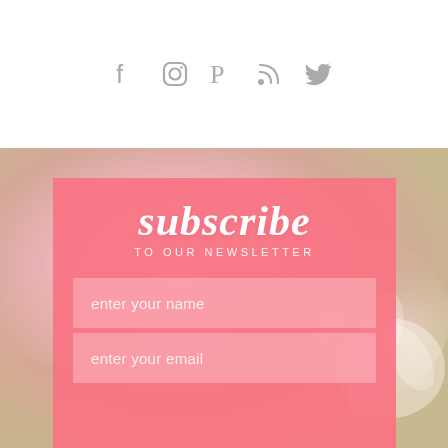[Figure (infographic): Social media icons row: Facebook, Instagram, Pinterest, RSS, Twitter — all in light gray on white background]
[Figure (photo): Soft pink and cream floral background photo, blurred rose/flower petals]
subscribe
TO OUR NEWSLETTER
enter your name
enter your email